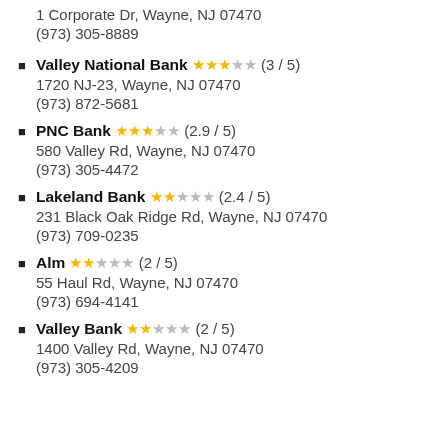1 Corporate Dr, Wayne, NJ 07470
(973) 305-8889
Valley National Bank ★★★☆☆ (3 / 5)
1720 NJ-23, Wayne, NJ 07470
(973) 872-5681
PNC Bank ★★★☆☆ (2.9 / 5)
580 Valley Rd, Wayne, NJ 07470
(973) 305-4472
Lakeland Bank ★★☆☆☆ (2.4 / 5)
231 Black Oak Ridge Rd, Wayne, NJ 07470
(973) 709-0235
Alm ★★☆☆☆ (2 / 5)
55 Haul Rd, Wayne, NJ 07470
(973) 694-4141
Valley Bank ★★☆☆☆ (2 / 5)
1400 Valley Rd, Wayne, NJ 07470
(973) 305-4209